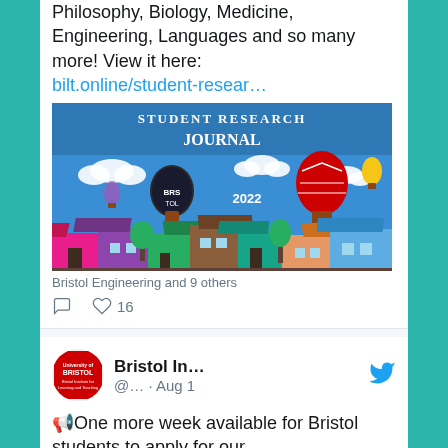Philosophy, Biology, Medicine, Engineering, Languages and so many more! View it here: bilt.online/student-resear…
[Figure (illustration): Cover of the Bristol Student Research Journal 2022 showing colorful row houses with hot air balloons in a blue sky]
Bristol Engineering and 9 others
16 likes
Bristol In… @… · Aug 1
📢One more week available for Bristol students to apply for our